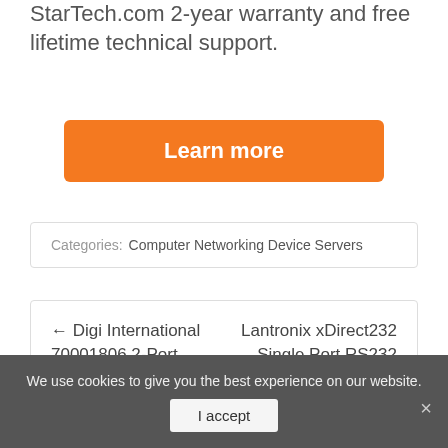StarTech.com 2-year warranty and free lifetime technical support.
[Figure (other): Orange 'Learn more' button]
Categories: Computer Networking Device Servers
← Digi International 70001806 2-Port 230Kbps Device Server
Lantronix xDirect232 Single Port RS232 10/100 Device Server →
We use cookies to give you the best experience on our website.
I accept